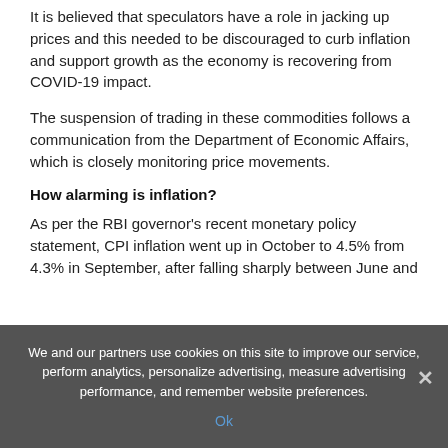It is believed that speculators have a role in jacking up prices and this needed to be discouraged to curb inflation and support growth as the economy is recovering from COVID-19 impact.
The suspension of trading in these commodities follows a communication from the Department of Economic Affairs, which is closely monitoring price movements.
How alarming is inflation?
As per the RBI governor's recent monetary policy statement, CPI inflation went up in October to 4.5% from 4.3% in September, after falling sharply between June and September. The partial text cuts off here due to cookie overlay.
We and our partners use cookies on this site to improve our service, perform analytics, personalize advertising, measure advertising performance, and remember website preferences.